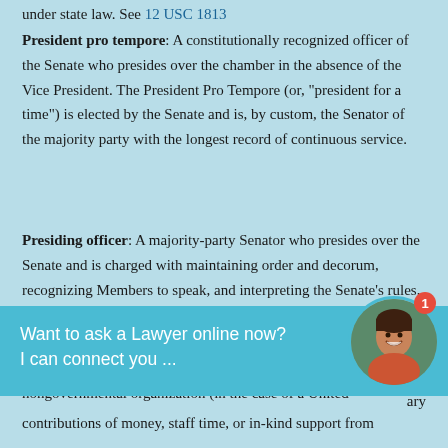under state law. See 12 USC 1813
President pro tempore: A constitutionally recognized officer of the Senate who presides over the chamber in the absence of the Vice President. The President Pro Tempore (or, "president for a time") is elected by the Senate and is, by custom, the Senator of the majority party with the longest record of continuous service.
Presiding officer: A majority-party Senator who presides over the Senate and is charged with maintaining order and decorum, recognizing Members to speak, and interpreting the Senate's rules, practices and precedents.
private voluntary organization: means a not-for-profit, nongovernmental organization (in the case of a United States...exempt from...voluntary contributions of money, staff time, or in-kind support from
[Figure (photo): Chat overlay with photo of a woman smiling, with badge showing notification number 1, and text 'Want to ask a Lawyer online now? I can connect you ...']